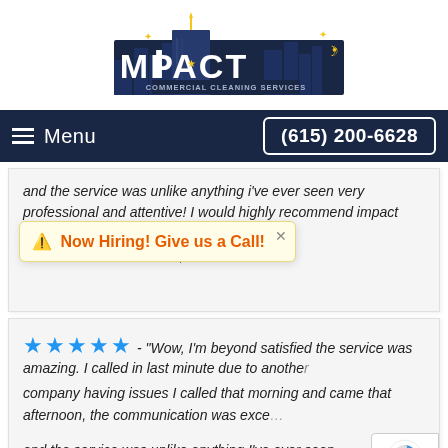[Figure (logo): Impact Commercial Cleaning Services logo with stylized city skyline and star]
Menu  (615) 200-6628
and the service was unlike anything i've ever seen very professional and attentive! I would highly recommend impact cleaning services great job!!"
Brielle L. in Murfreesboro, TN
⚠ Now Hiring! Give us a Call!
★★★★★ - "Wow, I'm beyond satisfied the service was amazing. I called in last minute due to another company having issues I called that morning and came that afternoon, the communication was exce... and the service was unlike anything I've ever seen